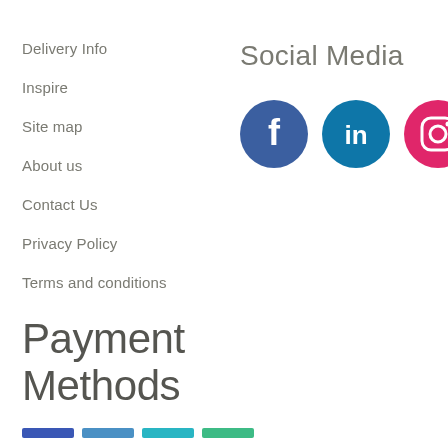Delivery Info
Inspire
Site map
About us
Contact Us
Privacy Policy
Terms and conditions
Social Media
[Figure (illustration): Three social media icons: Facebook (dark blue circle with white f), LinkedIn (blue circle with white in), Instagram (pink/red circle with white camera icon)]
Payment
Methods